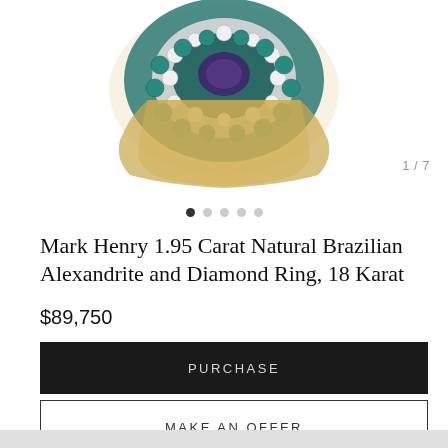[Figure (photo): Close-up photo of a Mark Henry alexandrite and diamond ring with teal/blue stones and white diamonds set in yellow gold, shown at top of page. Image counter '1 / 7' visible at top right.]
1 / 7
• • • • •
Mark Henry 1.95 Carat Natural Brazilian Alexandrite and Diamond Ring, 18 Karat
$89,750
PURCHASE
MAKE AN OFFER